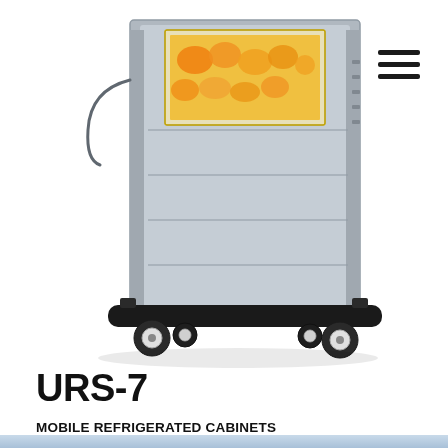[Figure (photo): Mobile refrigerated stainless steel cabinet on wheels with a transparent door showing food trays inside, photographed against white background.]
URS-7
MOBILE REFRIGERATED CABINETS
For Various Size Trays, Pans, and Gastro-Norm
REFRIGERATED "URS" SERIES
Compare +